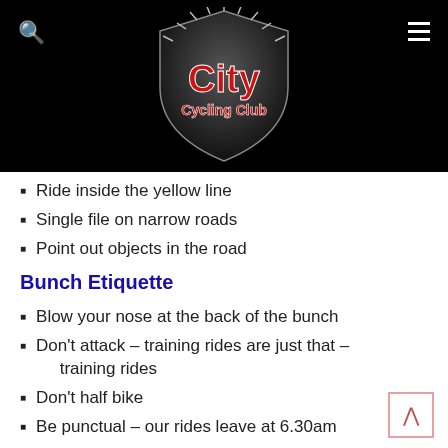City Cycling Club logo with search and hamburger menu icons
Ride inside the yellow line
Single file on narrow roads
Point out objects in the road
Bunch Etiquette
Blow your nose at the back of the bunch
Don't attack – training rides are just that – training rides
Don't half bike
Be punctual – our rides leave at 6.30am
Visitors are always welcome. Saturday rides